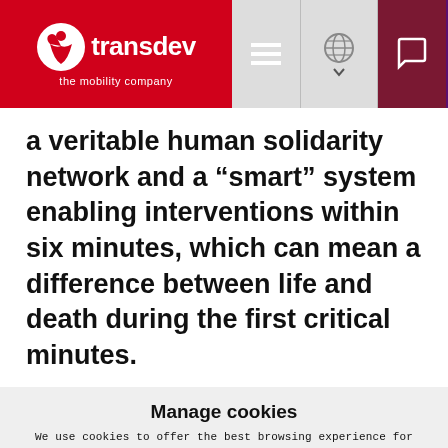Transdev — the mobility company (header navigation bar)
a veritable human solidarity network and a “smart” system enabling interventions within six minutes, which can mean a difference between life and death during the first critical minutes.
Manage cookies
We use cookies to offer the best browsing experience for statistical purposes and to analyze your activity. For more information, see our privacy policy.
Accept cookies | Refuse cookies | Manage cookies